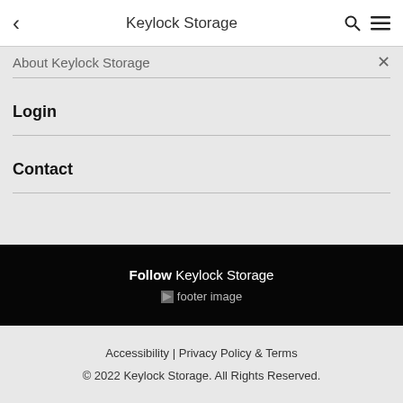Keylock Storage
About Keylock Storage
Login
Contact
Follow Keylock Storage
[Figure (other): Footer social media image placeholder]
Accessibility | Privacy Policy & Terms
© 2022 Keylock Storage. All Rights Reserved.